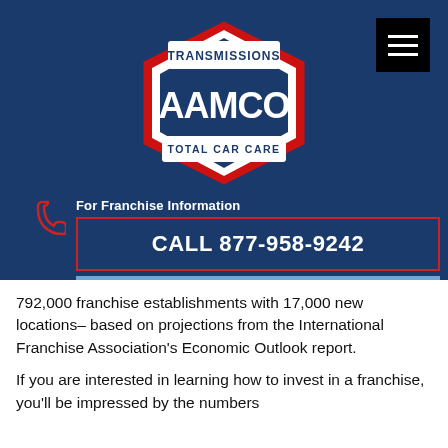[Figure (logo): AAMCO Transmissions Total Car Care logo — red and blue shield shape with white text]
For Franchise Information
CALL 877-958-9242
REQUEST INFO
792,000 franchise establishments with 17,000 new locations– based on projections from the International Franchise Association's Economic Outlook report.
If you are interested in learning how to invest in a franchise, you'll be impressed by the numbers